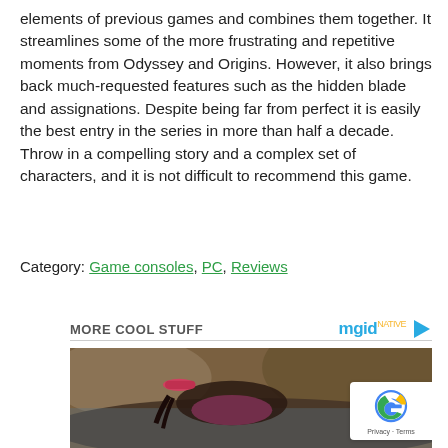elements of previous games and combines them together. It streamlines some of the more frustrating and repetitive moments from Odyssey and Origins. However, it also brings back much-requested features such as the hidden blade and assignations. Despite being far from perfect it is easily the best entry in the series in more than half a decade. Throw in a compelling story and a complex set of characters, and it is not difficult to recommend this game.
Category: Game consoles, PC, Reviews
MORE COOL STUFF
[Figure (photo): Photo of a person wearing a pink cap, appears to be lying near water with rocks in the background. reCAPTCHA badge visible in bottom right corner.]